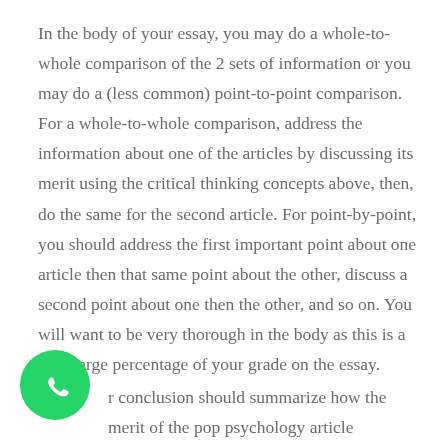In the body of your essay, you may do a whole-to-whole comparison of the 2 sets of information or you may do a (less common) point-to-point comparison. For a whole-to-whole comparison, address the information about one of the articles by discussing its merit using the critical thinking concepts above, then, do the same for the second article. For point-by-point, you should address the first important point about one article then that same point about the other, discuss a second point about one then the other, and so on. You will want to be very thorough in the body as this is a very large percentage of your grade on the essay.
[Figure (logo): WhatsApp logo — green circle with white phone handset icon]
r conclusion should summarize how the merit of the pop psychology article compares and contrasts